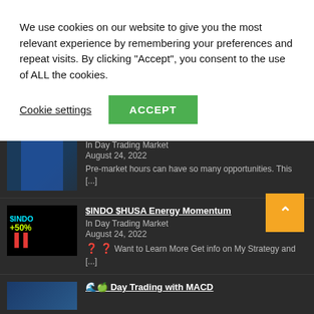We use cookies on our website to give you the most relevant experience by remembering your preferences and repeat visits. By clicking "Accept", you consent to the use of ALL the cookies.
Cookie settings  ACCEPT
In Day Trading Market
August 24, 2022
Pre-market hours can have so many opportunities. This [...]
$INDO $HUSA Energy Momentum
In Day Trading Market
August 24, 2022
❓ ❓ Want to Learn More Get info on My Strategy and [...]
Day Trading with MACD